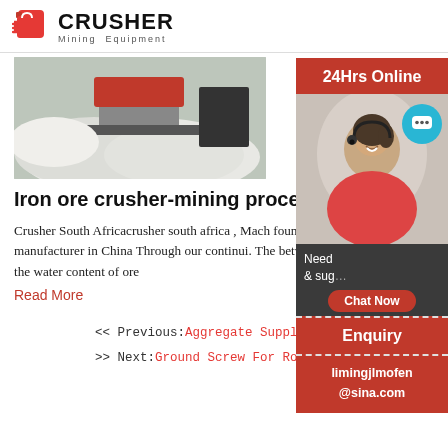CRUSHER Mining Equipment
[Figure (photo): Mining equipment processing white ore/sand with machinery and conveyor belt visible]
Iron ore crusher-mining processing equipment manufacturer
Crusher South Africacrusher south africa , Mach founded in 2002, is a professional mining crushi manufacturer in China Through our continui. The between Ball Mill Types and Grinding The type c related to the water content of ore
Read More
<< Previous:Aggregate Supply I
>> Next:Ground Screw For Rota
[Figure (photo): Sidebar with 24Hrs Online support, photo of female customer service agent with headset, chat now button, enquiry section, and email limingjlmofen@sina.com]